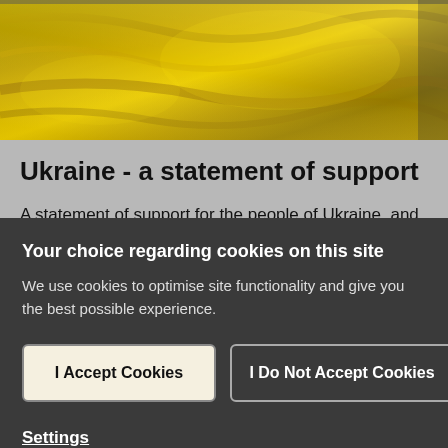[Figure (illustration): Gold/yellow silk or fabric texture, representing the Ukrainian flag colors]
Ukraine - a statement of support
A statement of support for the people of Ukraine, and their family and friends living in the Tunbridge
Your choice regarding cookies on this site
We use cookies to optimise site functionality and give you the best possible experience.
I Accept Cookies
I Do Not Accept Cookies
Settings